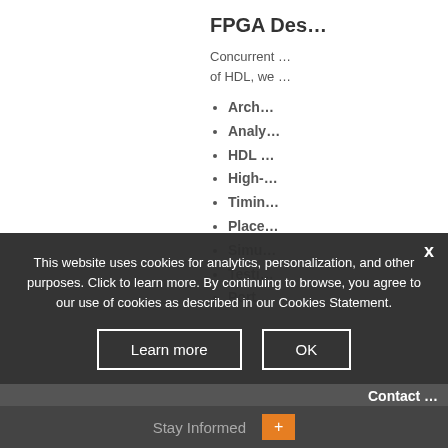FPGA Des...
Concurrent ... of HDL, we ...
Arch...
Analy...
HDL ...
High-...
Timin...
Place...
Simu...
Testi...
Port...
This website uses cookies for analytics, personalization, and other purposes. Click to learn more. By continuing to browse, you agree to our use of cookies as described in our Cookies Statement.
Contact ...
Stay Informed